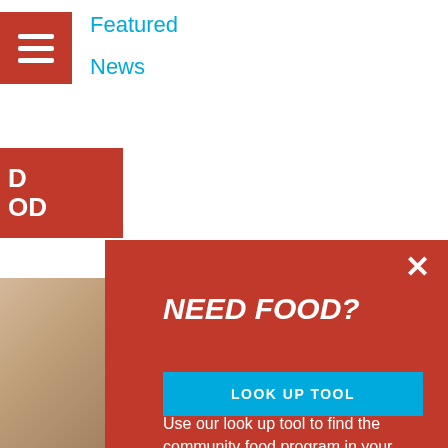Featured
News
Meta
Log in
Entries feed
NEED FOOD?
Use our look up tool to find the community food program in your neighbourhood.
LOOK UP TOOL